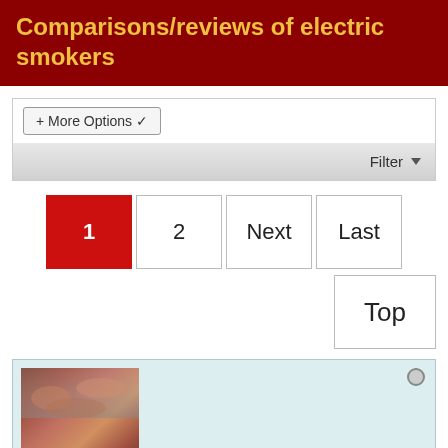Comparisons/reviews of electric smokers
+ More Options ▾
Filter ▼
1  2  Next  Last
Top
[Figure (photo): Thumbnail image of smoked meat on a grill rack with smoke visible]
smokeYork